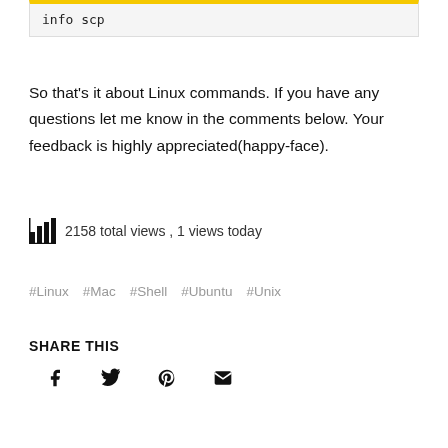info scp
So that's it about Linux commands. If you have any questions let me know in the comments below. Your feedback is highly appreciated(happy-face).
2158 total views , 1 views today
#Linux  #Mac  #Shell  #Ubuntu  #Unix
SHARE THIS
[Figure (infographic): Social share icons: Facebook, Twitter, Pinterest, Email]